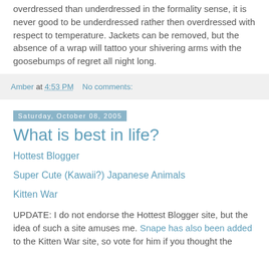overdressed than underdressed in the formality sense, it is never good to be underdressed rather then overdressed with respect to temperature. Jackets can be removed, but the absence of a wrap will tattoo your shivering arms with the goosebumps of regret all night long.
Amber at 4:53 PM   No comments:
Saturday, October 08, 2005
What is best in life?
Hottest Blogger
Super Cute (Kawaii?) Japanese Animals
Kitten War
UPDATE: I do not endorse the Hottest Blogger site, but the idea of such a site amuses me. Snape has also been added to the Kitten War site, so vote for him if you thought the